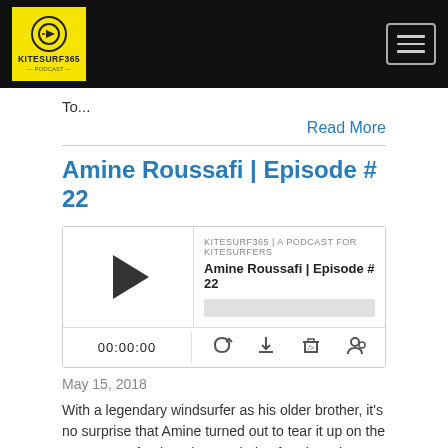KITESURF365 navigation header
To...
Read More
Amine Roussafi | Episode # 22
[Figure (screenshot): Podcast player widget showing KITESURF365 | A PODCAST FOR KITESURFERS, episode title Amine Roussafi | Episode # 22, play button, progress bar, time display 00:00:00, and controls for RSS, download, embed, and user icon]
May 15, 2018
With a legendary windsurfer as his older brother, it's no surprise that Amine turned out to tear it up on the water too. After learning to windsurf and teach, Amine gave kiteboarding a try, and found his sport. Within just a few months, he was unhooking and doing advanced handle pass moves. Having competed at world